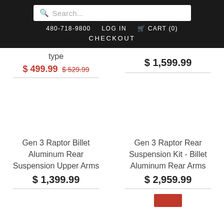Search... | 480-718-9800 LOG IN CART (0) CHECKOUT
type
$ 499.99 $ 529.99
$ 1,599.99
Gen 3 Raptor Billet Aluminum Rear Suspension Upper Arms
$ 1,399.99
Gen 3 Raptor Rear Suspension Kit - Billet Aluminum Rear Arms
$ 2,959.99